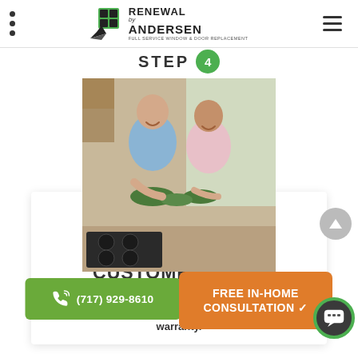Renewal by Andersen — navigation header
STEP 4
[Figure (photo): A middle-aged couple smiling at each other in a kitchen, each holding green ceramic bowls]
CUSTOMER CARE
We walk you through a product demonstration and give you information about our robust limited product warranty.
(717) 929-8610
FREE IN-HOME CONSULTATION ✓